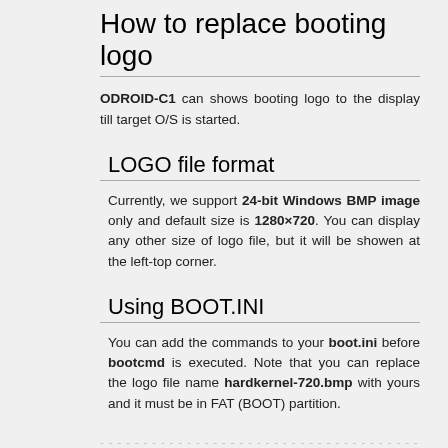How to replace booting logo
ODROID-C1 can shows booting logo to the display till target O/S is started.
LOGO file format
Currently, we support 24-bit Windows BMP image only and default size is 1280×720. You can display any other size of logo file, but it will be showen at the left-top corner.
Using BOOT.INI
You can add the commands to your boot.ini before bootcmd is executed. Note that you can replace the logo file name hardkernel-720.bmp with yours and it must be in FAT (BOOT) partition.